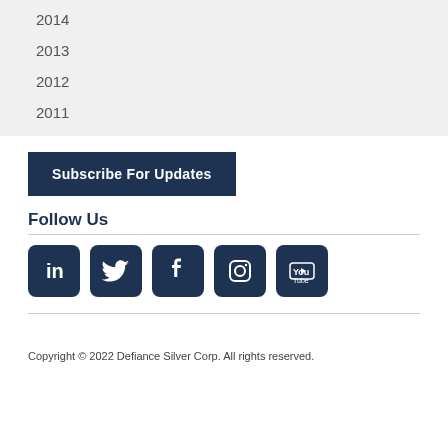2014
2013
2012
2011
Subscribe For Updates
Follow Us
[Figure (other): Social media icons: LinkedIn, Twitter, Facebook, Instagram, YouTube]
Copyright © 2022 Defiance Silver Corp. All rights reserved.